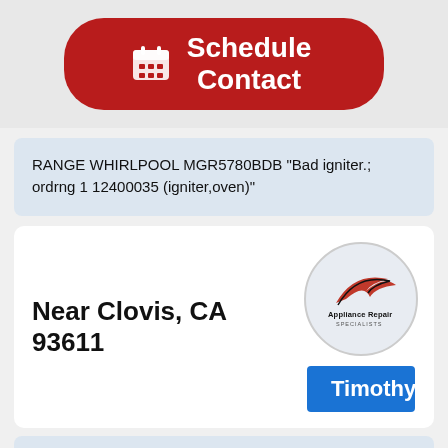[Figure (other): Red rounded button with calendar icon and text 'Schedule Contact']
RANGE WHIRLPOOL MGR5780BDB "Bad igniter.; ordrng 1 12400035 (igniter,oven)"
Near Clovis, CA 93611
[Figure (logo): Appliance Repair Specialists logo in a circle]
Timothy
Job Details:
04/01/2020